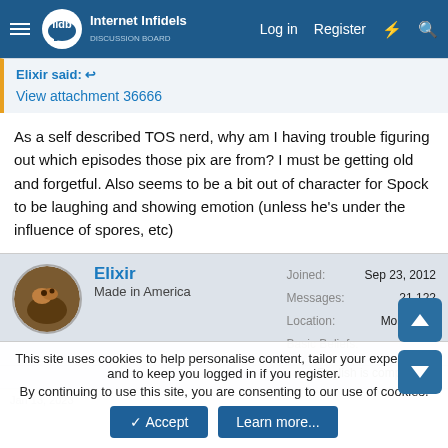Internet Infidels — Log in  Register
Elixir said: ↩
View attachment 36666
As a self described TOS nerd, why am I having trouble figuring out which episodes those pix are from? I must be getting old and forgetful. Also seems to be a bit out of character for Spock to be laughing and showing emotion (unless he's under the influence of spores, etc)
Elixir
Made in America
Joined: Sep 23, 2012
Messages: 21,122
Location: Mountains
Basic Beliefs: English is complicated
This site uses cookies to help personalise content, tailor your experience and to keep you logged in if you register.
By continuing to use this site, you are consenting to our use of cookies.